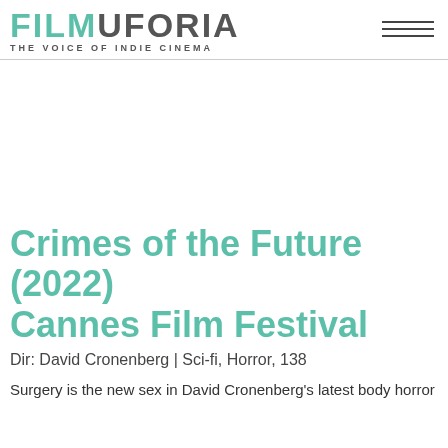FILMUFORIA — THE VOICE OF INDIE CINEMA
Crimes of the Future (2022) Cannes Film Festival
Dir: David Cronenberg | Sci-fi, Horror, 138
Surgery is the new sex in David Cronenberg's latest body horror